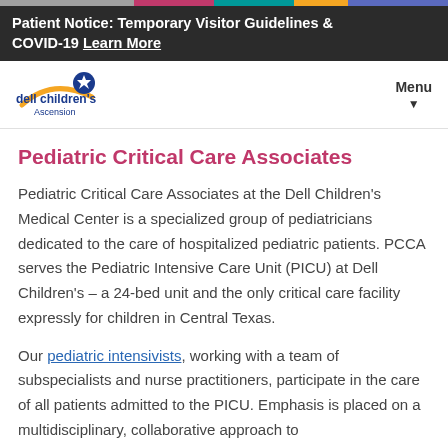Patient Notice: Temporary Visitor Guidelines & COVID-19 Learn More
[Figure (logo): Dell Children's Ascension logo with blue star and gold arc]
Pediatric Critical Care Associates
Pediatric Critical Care Associates at the Dell Children's Medical Center is a specialized group of pediatricians dedicated to the care of hospitalized pediatric patients. PCCA serves the Pediatric Intensive Care Unit (PICU) at Dell Children's – a 24-bed unit and the only critical care facility expressly for children in Central Texas.
Our pediatric intensivists, working with a team of subspecialists and nurse practitioners, participate in the care of all patients admitted to the PICU. Emphasis is placed on a multidisciplinary, collaborative approach to